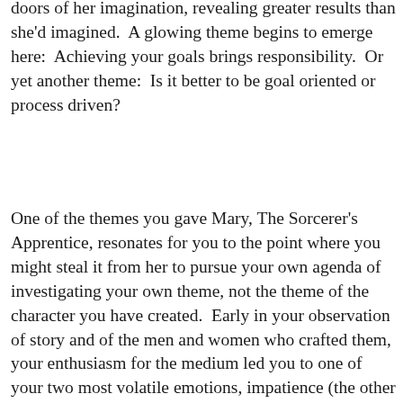doors of her imagination, revealing greater results than she'd imagined.  A glowing theme begins to emerge here:  Achieving your goals brings responsibility.  Or yet another theme:  Is it better to be goal oriented or process driven?
One of the themes you gave Mary, The Sorcerer's Apprentice, resonates for you to the point where you might steal it from her to pursue your own agenda of investigating your own theme, not the theme of the character you have created.  Early in your observation of story and of the men and women who crafted them, your enthusiasm for the medium led you to one of your two most volatile emotions, impatience (the other was anger).  The writers you chose made the process look so simple that you believed you could not only do it but do it as well as they could.  How many years did it take for you to realize how great a part of you being attracted to these particular writers had as its basis the fact that